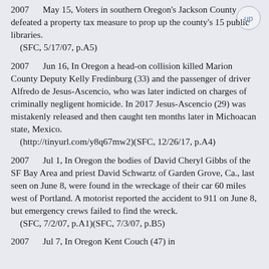2007   May 15, Voters in southern Oregon's Jackson County defeated a property tax measure to prop up the county's 15 public libraries.
    (SFC, 5/17/07, p.A5)
2007   Jun 16, In Oregon a head-on collision killed Marion County Deputy Kelly Fredinburg (33) and the passenger of driver Alfredo de Jesus-Ascencio, who was later indicted on charges of criminally negligent homicide. In 2017 Jesus-Ascencio (29) was mistakenly released and then caught ten months later in Michoacan state, Mexico.
    (http://tinyurl.com/y8q67mw2)(SFC, 12/26/17, p.A4)
2007   Jul 1, In Oregon the bodies of David Cheryl Gibbs of the SF Bay Area and priest David Schwartz of Garden Grove, Ca., last seen on June 8, were found in the wreckage of their car 60 miles west of Portland. A motorist reported the accident to 911 on June 8, but emergency crews failed to find the wreck.
    (SFC, 7/2/07, p.A1)(SFC, 7/3/07, p.B5)
2007   Jul 7, In Oregon Kent Couch (47) in...